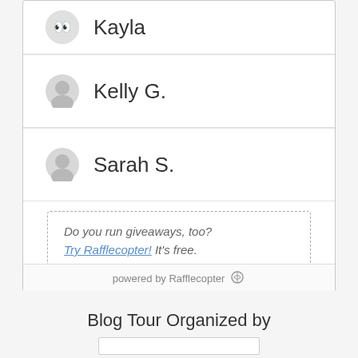[Figure (screenshot): User entry card showing winner names (Kayla, Kelly G., Sarah S.) with avatar icons in a Rafflecopter giveaway widget]
Kayla
Kelly G.
Sarah S.
Do you run giveaways, too? Try Rafflecopter! It's free.
powered by Rafflecopter
Blog Tour Organized by